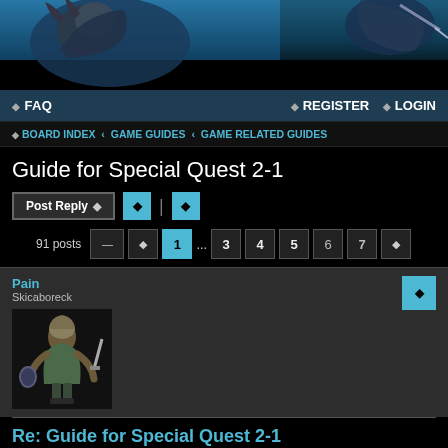[Figure (illustration): Game banner with fantasy warrior characters on a blue/dark background]
◆ FAQ  ◆ REGISTER  ◆ LOGIN
◆ BOARD INDEX  ‹  GAME GUIDES  ‹  GAME RELATED GUIDES
Guide for Special Quest 2-1
Post Reply | icon buttons
91 posts  [pages: 1 ... 3 4 5 6 7 →]
Pain
Skicaboreck
[Figure (illustration): Fantasy warrior character avatar image]
Re: Guide for Special Quest 2-1